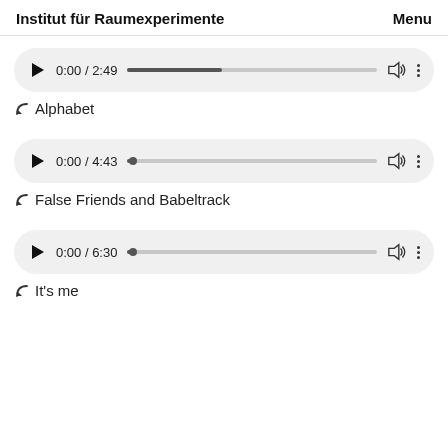Institut für Raumexperimente   Menu
[Figure (screenshot): Audio player 1: 0:00 / 2:49, progress bar partially filled]
↖ Alphabet
[Figure (screenshot): Audio player 2: 0:00 / 4:43, progress bar at start]
↖ False Friends and Babeltrack
[Figure (screenshot): Audio player 3: 0:00 / 6:30, progress bar at start]
↖ It's me